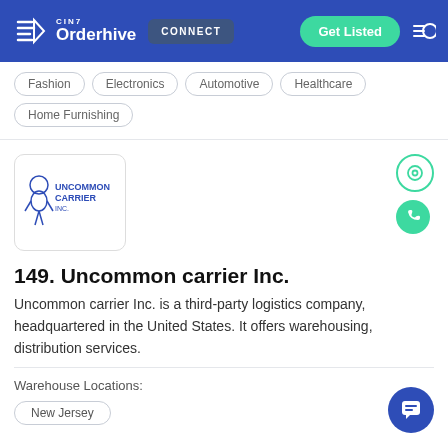CIN7 Orderhive | CONNECT | Get Listed
Fashion
Electronics
Automotive
Healthcare
Home Furnishing
[Figure (logo): Uncommon Carrier Inc. logo — cartoon character with text UNCOMMON CARRIER INC. in blue]
149. Uncommon carrier Inc.
Uncommon carrier Inc. is a third-party logistics company, headquartered in the United States. It offers warehousing, distribution services.
Warehouse Locations:
New Jersey